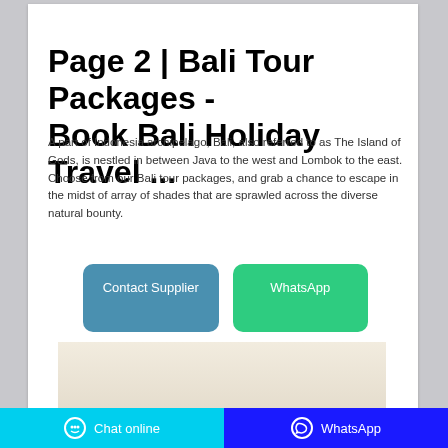Page 2 | Bali Tour Packages - Book Bali Holiday Travel ...
A part of Indonesia archipelago, Bali, also referred to as The Island of Gods, is nestled in between Java to the west and Lombok to the east. Choose from our Bali tour packages, and grab a chance to escape in the midst of array of shades that are sprawled across the diverse natural bounty.
[Figure (other): Two buttons side by side: 'Contact Supplier' (teal/blue) and 'WhatsApp' (green)]
[Figure (photo): Partial photo of a light-colored interior space, cut off at bottom of page]
Chat online   WhatsApp